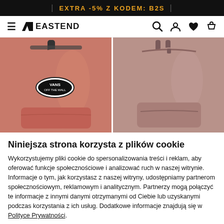EXTRA -5% Z KODEM: B2S
[Figure (screenshot): Eastend online store navigation bar with hamburger menu, logo, search, account, wishlist and cart icons]
[Figure (photo): Two pink/salmon backpacks side by side. Left: Vans Off The Wall branded backpack in salmon/coral pink. Right: plain dusty rose/mauve backpack.]
Niniejsza strona korzysta z plików cookie
Wykorzystujemy pliki cookie do spersonalizowania treści i reklam, aby oferować funkcje społecznościowe i analizować ruch w naszej witrynie. Informacje o tym, jak korzystasz z naszej witryny, udostępniamy partnerom społecznościowym, reklamowym i analitycznym. Partnerzy mogą połączyć te informacje z innymi danymi otrzymanymi od Ciebie lub uzyskanymi podczas korzystania z ich usług. Dodatkowe informacje znajdują się w Polityce Prywatności.
OK
Pokaż szczegóły